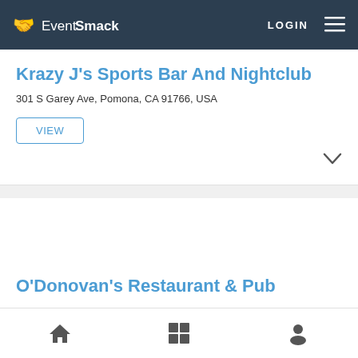EventSmack — LOGIN
Krazy J's Sports Bar And Nightclub
301 S Garey Ave, Pomona, CA 91766, USA
VIEW
O'Donovan's Restaurant & Pub
Home | Grid | Profile